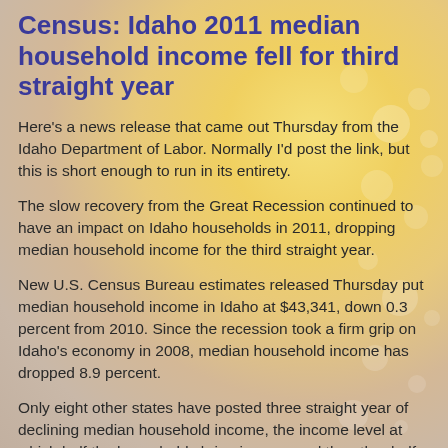Census: Idaho 2011 median household income fell for third straight year
Here's a news release that came out Thursday from the Idaho Department of Labor. Normally I'd post the link, but this is short enough to run in its entirety.
The slow recovery from the Great Recession continued to have an impact on Idaho households in 2011, dropping median household income for the third straight year.
New U.S. Census Bureau estimates released Thursday put median household income in Idaho at $43,341, down 0.3 percent from 2010. Since the recession took a firm grip on Idaho's economy in 2008, median household income has dropped 8.9 percent.
Only eight other states have posted three straight year of declining median household income, the income level at which half the households bring in more and the other half less. But only Nevada and Georgia recorded larger three-year declines.